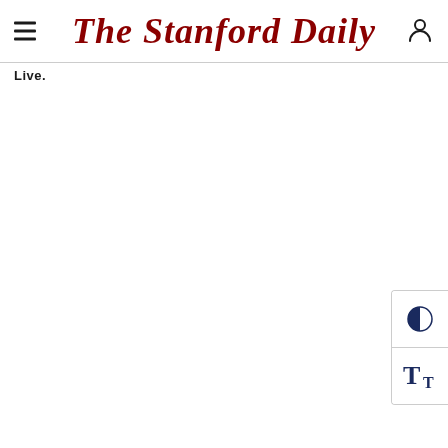The Stanford Daily
Live.
[Figure (other): Toolbar widget with contrast toggle (half-filled circle icon) and text size toggle (Tt icon), positioned on the right side of the page]